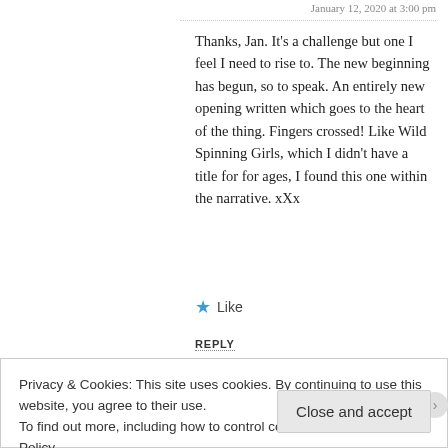January 12, 2020 at 3:00 pm
Thanks, Jan. It's a challenge but one I feel I need to rise to. The new beginning has begun, so to speak. An entirely new opening written which goes to the heart of the thing. Fingers crossed! Like Wild Spinning Girls, which I didn't have a title for for ages, I found this one within the narrative. xXx
Like
REPLY
BookerTalk said: January 6, 2020 at 3:12 pm
Privacy & Cookies: This site uses cookies. By continuing to use this website, you agree to their use.
To find out more, including how to control cookies, see here: Cookie Policy
Close and accept